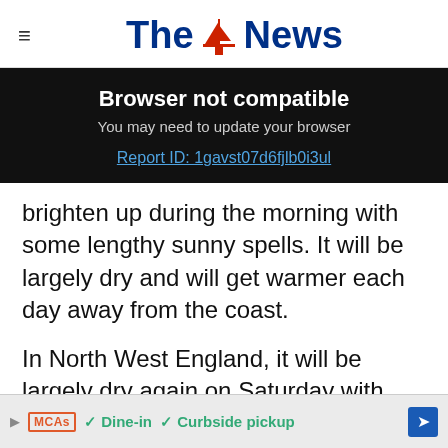The News
Browser not compatible
You may need to update your browser
Report ID: 1gavst07d6fjlb0i3ul
brighten up during the morning with some lengthy sunny spells. It will be largely dry and will get warmer each day away from the coast.
In North West England, it will be largely dry again on Saturday with further sunshine through the day. It will feel warmer than recen
[Figure (screenshot): Advertisement bar at bottom showing MCAs logo, Dine-in, Curbside pickup, and navigation arrow]